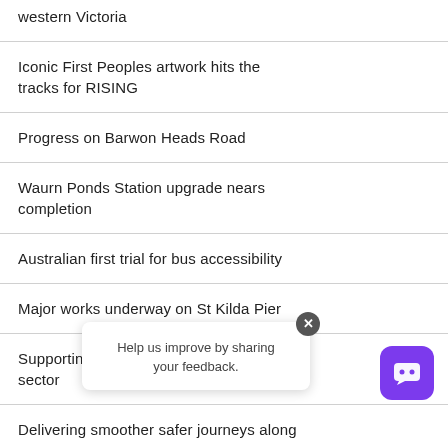western Victoria
Iconic First Peoples artwork hits the tracks for RISING
Progress on Barwon Heads Road
Waurn Ponds Station upgrade nears completion
Australian first trial for bus accessibility
Major works underway on St Kilda Pier
Supporting our tourist and heritage rail sector
Delivering smoother safer journeys along